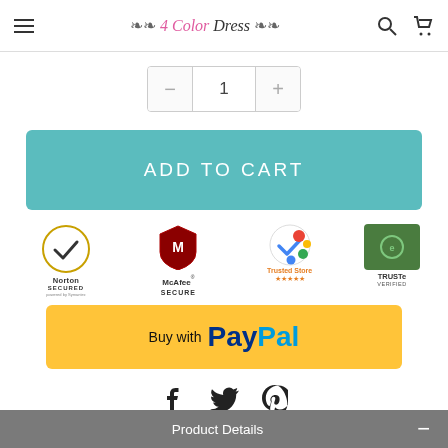4 Color Dress
[Figure (screenshot): Quantity stepper with minus, 1, and plus buttons]
ADD TO CART
[Figure (infographic): Trust badges: Norton SECURED powered by Symantec, McAfee SECURE, Google Trusted Store, TRUSTe VERIFIED]
[Figure (screenshot): Buy with PayPal button (yellow background)]
[Figure (infographic): Social share icons: Facebook, Twitter, Pinterest]
Product Details